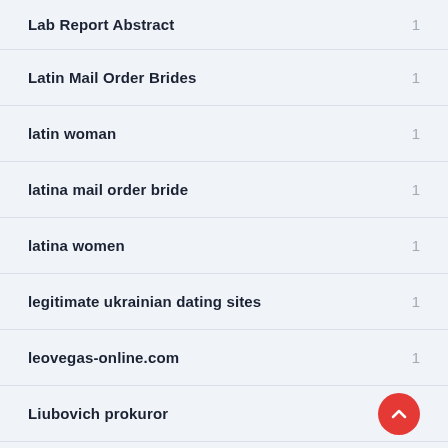Lab Report Abstract
Latin Mail Order Brides
latin woman
latina mail order bride
latina women
legitimate ukrainian dating sites
leovegas-online.com
Liubovich prokuror
loan when unemployed